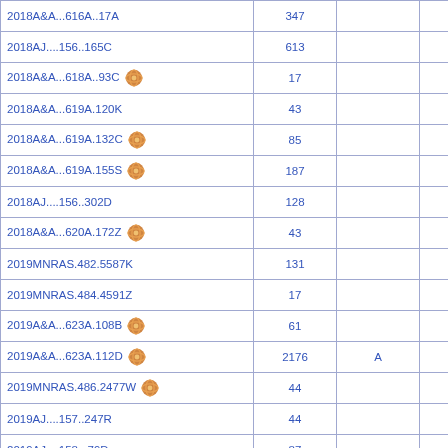| Reference | N |  |  |
| --- | --- | --- | --- |
| 2018A&A...616A..17A | 347 |  |  |
| 2018AJ....156..165C | 613 |  | D |
| 2018A&A...618A..93C [vizier] | 17 |  | D |
| 2018A&A...619A.120K | 43 |  |  |
| 2018A&A...619A.132C [vizier] | 85 |  |  |
| 2018A&A...619A.155S [vizier] | 187 |  | D |
| 2018AJ....156..302D | 128 |  |  |
| 2018A&A...620A.172Z [vizier] | 43 |  |  |
| 2019MNRAS.482.5587K | 131 |  |  |
| 2019MNRAS.484.4591Z | 17 |  | D |
| 2019A&A...623A.108B [vizier] | 61 |  | D |
| 2019A&A...623A.112D [vizier] | 2176 | A | D |
| 2019MNRAS.486.2477W [vizier] | 44 |  |  |
| 2019AJ....157..247R | 44 |  |  |
| 2019AJ....158...79D | 87 |  |  |
| 2019AJ....158..122K [vizier] | 17 |  | D |
| 2019A&A...629A.114C [vizier] | 87 |  |  |